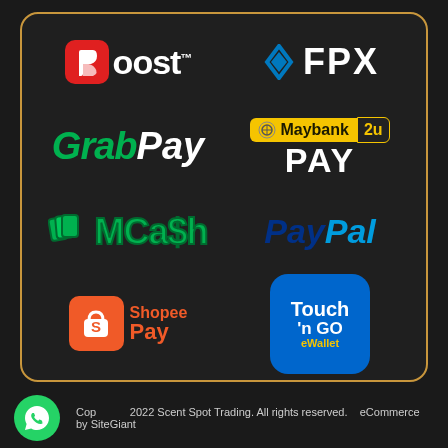[Figure (infographic): Payment methods logos on dark background: Boost, FPX, GrabPay, Maybank2u PAY, MCash, PayPal, ShopeePay, Touch 'n GO eWallet]
Copyright 2022 Scent Spot Trading. All rights reserved.    eCommerce by SiteGiant